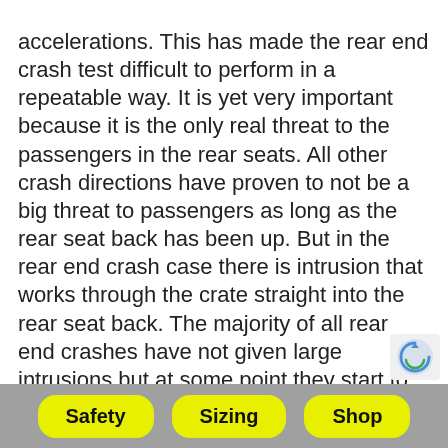accelerations. This has made the rear end crash test difficult to perform in a repeatable way. It is yet very important because it is the only real threat to the passengers in the rear seats. All other crash directions have proven to not be a big threat to passengers as long as the rear seat back has been up. But in the rear end crash case there is intrusion that works through the crate straight into the rear seat back. The majority of all rear end crashes have not given large intrusions but at some point they start to be really dangerous. The amount of intrusion depends on the intruding vehicle speed and weight. (I have recorded cases with dogs in the trunk with interior intrusions
Safety  Sizing  Shop